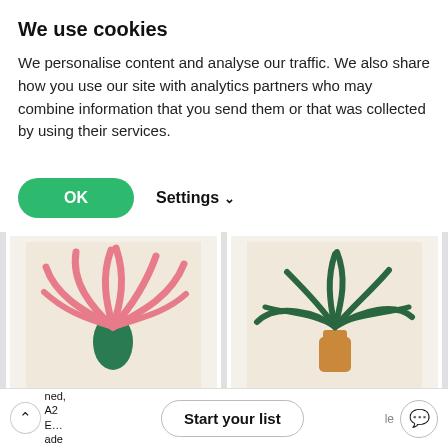We use cookies
We personalise content and analyse our traffic. We also share how you use our site with analytics partners who may combine information that you send them or that was collected by using their services.
OK   Settings
[Figure (illustration): Framed art print showing pink plant with green vase on beige background (Loosey Goosey Agapanthus)]
[Figure (illustration): Framed art print showing green drooping plant with ochre vase on beige background (Ponytail Palm)]
Liv Lee, Loosey Goosey Agapanthus Art Print,
Liv Lee, Ponytail Palm Art Print, Unframed, A2
Start your list